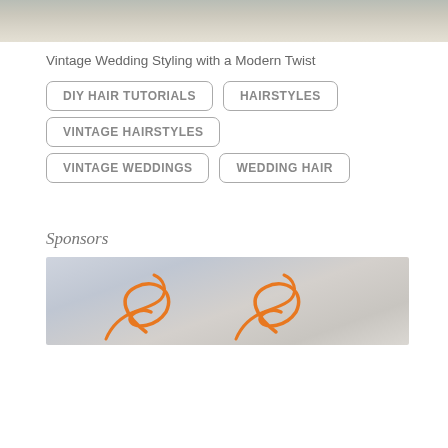[Figure (photo): Top portion of a wedding photo showing a bride with vintage styling, light background with soft tones]
Vintage Wedding Styling with a Modern Twist
DIY HAIR TUTORIALS
HAIRSTYLES
VINTAGE HAIRSTYLES
VINTAGE WEDDINGS
WEDDING HAIR
Sponsors
[Figure (logo): Sponsor logo image with orange cursive/script design elements on a light sky background with clouds]